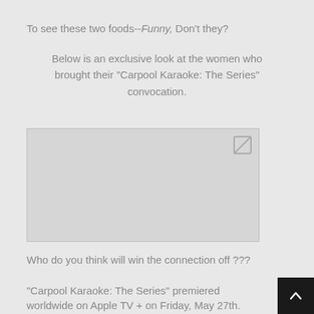To see these two foods--Funny, Don't they?
Below is an exclusive look at the women who brought their “Carpool Karaoke: The Series” convocation.
[Figure (photo): Placeholder image box with a broken image icon in the top-right corner]
Who do you think will win the connection off ???
“Carpool Karaoke: The Series” premiered worldwide on Apple TV + on Friday, May 27th.